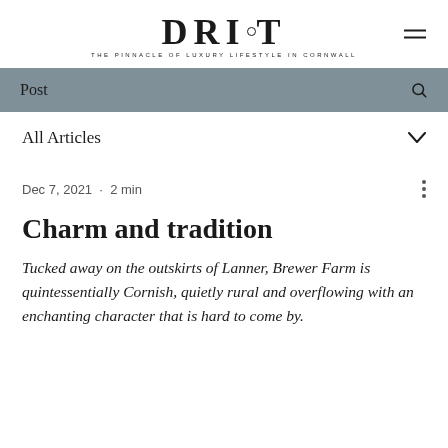DRIFT · THE PINNACLE OF LUXURY LIFESTYLE IN CORNWALL
Post
All Articles
Dec 7, 2021 · 2 min
Charm and tradition
Tucked away on the outskirts of Lanner, Brewer Farm is quintessentially Cornish, quietly rural and overflowing with an enchanting character that is hard to come by.